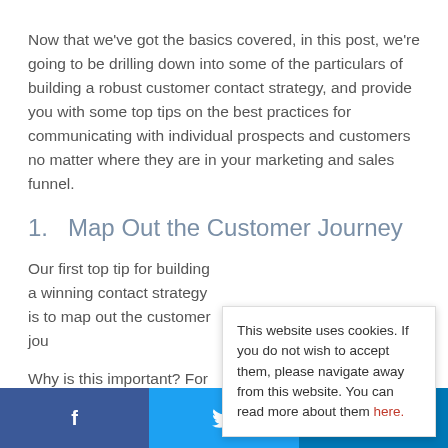Now that we've got the basics covered, in this post, we're going to be drilling down into some of the particulars of building a robust customer contact strategy, and provide you with some top tips on the best practices for communicating with individual prospects and customers no matter where they are in your marketing and sales funnel.
1.  Map Out the Customer Journey
Our first top tip for building a winning contact strategy is to map out the customer jou...
Why is this important? For the s... contacts will have different nee... they are on the path to purcha...
This website uses cookies. If you do not wish to accept them, please navigate away from this website. You can read more about them here.